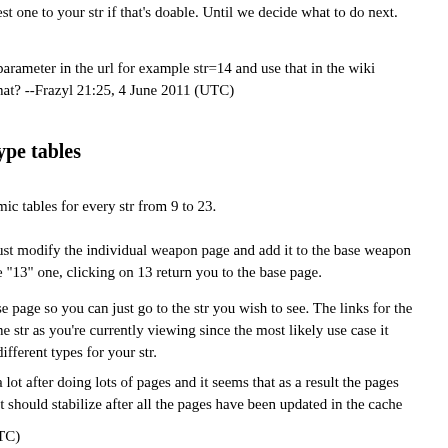est one to your str if that's doable. Until we decide what to do next.
parameter in the url for example str=14 and use that in the wiki hat? --Frazyl 21:25, 4 June 2011 (UTC)
ype tables
mic tables for every str from 9 to 23.
ust modify the individual weapon page and add it to the base weapon e "13" one, clicking on 13 return you to the base page.
se page so you can just go to the str you wish to see. The links for the ne str as you're currently viewing since the most likely use case it different types for your str.
a lot after doing lots of pages and it seems that as a result the pages it should stabilize after all the pages have been updated in the cache
TC)
placed the "?" smaller because it was too visually obstructing for